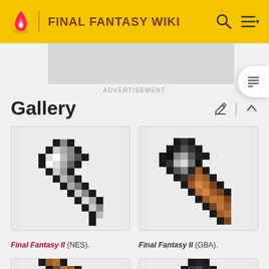FINAL FANTASY WIKI
ADVERTISEMENT
Gallery
[Figure (illustration): Pixel art sprite of an axe weapon from Final Fantasy II (NES), shown in grayscale/black and white pixel art style.]
Final Fantasy II (NES).
[Figure (illustration): Pixel art sprite of an axe weapon from Final Fantasy II (GBA), shown with black head and brown wooden handle.]
Final Fantasy II (GBA).
[Figure (illustration): Partial pixel art sprite of an axe weapon, bottom left of grid, partially cropped.]
[Figure (illustration): Partial pixel art sprite of an axe weapon, bottom right of grid, partially cropped with blue/dark colors.]